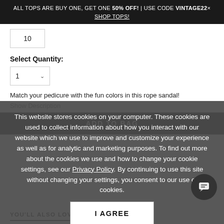ALL TOPS ARE BUY ONE, GET ONE 50% OFF! | USE CODE VINTAGE22× SHOP TOPS!
10
Select Quantity:
1
Match your pedicure with the fun colors in this rope sandal!
Show Description
This website stores cookies on your computer. These cookies are used to collect information about how you interact with our website which we use to improve and customize your experience as well as for analytic and marketing purposes. To find out more about the cookies we use and how to change your cookie settings, see our Privacy Policy. By continuing to use this site without changing your settings, you consent to our use of cookies.
ADD TO BAG
I AGREE
YOU'LL ALSO LOVE